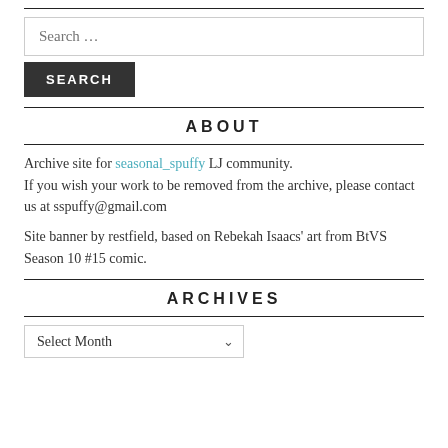Search …
SEARCH
ABOUT
Archive site for seasonal_spuffy LJ community. If you wish your work to be removed from the archive, please contact us at sspuffy@gmail.com
Site banner by restfield, based on Rebekah Isaacs' art from BtVS Season 10 #15 comic.
ARCHIVES
Select Month